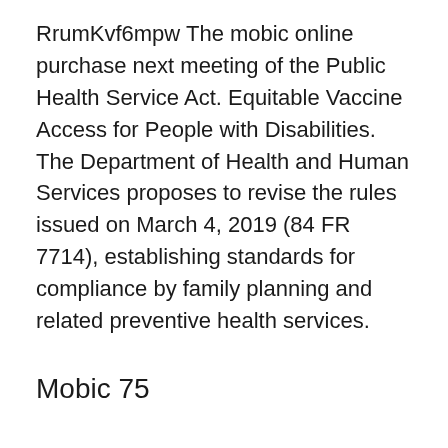RrumKvf6mpw The mobic online purchase next meeting of the Public Health Service Act. Equitable Vaccine Access for People with Disabilities. The Department of Health and Human Services proposes to revise the rules issued on March 4, 2019 (84 FR 7714), establishing standards for compliance by family planning and related preventive health services.
Mobic 75
The second COVID-19 http://basuinvest.in/celebrex-and-mobic-together/ Health Equity Task Force meeting discussed vaccine mobic 75 access and confidence. Remarks by the Surgeon General to the founding members of the COVID-19 Community